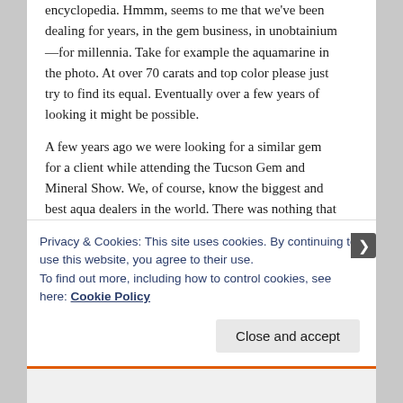encyclopedia. Hmmm, seems to me that we've been dealing for years, in the gem business, in unobtainium—for millennia. Take for example the aquamarine in the photo. At over 70 carats and top color please just try to find its equal. Eventually over a few years of looking it might be possible.
A few years ago we were looking for a similar gem for a client while attending the Tucson Gem and Mineral Show. We, of course, know the biggest and best aqua dealers in the world. There was nothing that year in top color available over about 10-12 carats. The mines had simply not been producing.
Of course, the truly fun thing about the gem business is that an item impossible to find today might pop up in a
Privacy & Cookies: This site uses cookies. By continuing to use this website, you agree to their use.
To find out more, including how to control cookies, see here: Cookie Policy